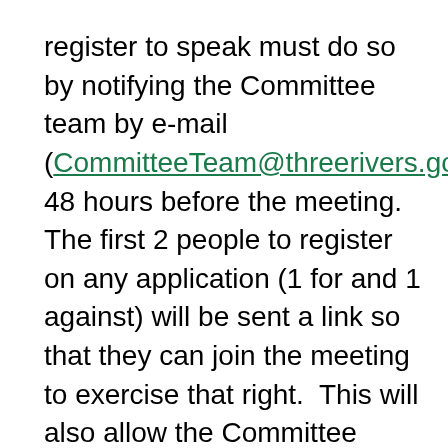register to speak must do so by notifying the Committee team by e-mail (CommitteeTeam@threerivers.gov.uk) 48 hours before the meeting. The first 2 people to register on any application (1 for and 1 against) will be sent a link so that they can join the meeting to exercise that right.  This will also allow the Committee Team to prepare the speaker sheet in advance of the remote meeting to forward to the Chair of the meeting.
In accordance with The Openness of Local Government Bodies Regulations 2014 any matters considered under Part 1 business only of the meeting may be filmed, recorded, photographed, broadcast or reported via social media by any